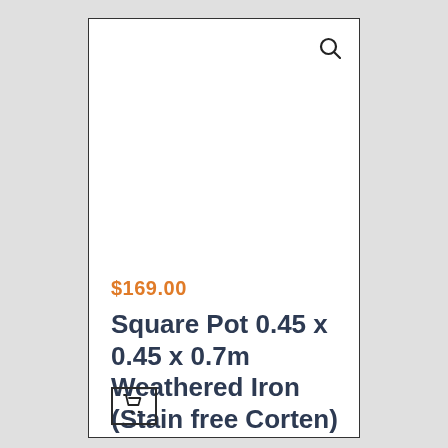[Figure (screenshot): Search magnifier icon in upper right of product card]
$169.00
Square Pot 0.45 x 0.45 x 0.7m Weathered Iron (Stain free Corten)
[Figure (other): Add to cart button icon — small shopping cart in a square border]